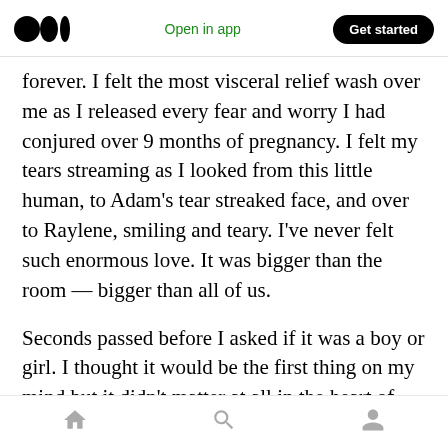Medium logo | Open in app | Get started
forever. I felt the most visceral relief wash over me as I released every fear and worry I had conjured over 9 months of pregnancy. I felt my tears streaming as I looked from this little human, to Adam’s tear streaked face, and over to Raylene, smiling and teary. I’ve never felt such enormous love. It was bigger than the room — bigger than all of us.
Seconds passed before I asked if it was a boy or girl. I thought it would be the first thing on my mind but it didn’t matter at all in the heart of everything. We had a baby! A little pink fleshed
Home | Search | Profile